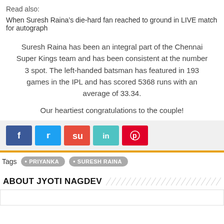Read also:
When Suresh Raina’s die-hard fan reached to ground in LIVE match for autograph
Suresh Raina has been an integral part of the Chennai Super Kings team and has been consistent at the number 3 spot. The left-handed batsman has featured in 193 games in the IPL and has scored 5368 runs with an average of 33.34.
Our heartiest congratulations to the couple!
[Figure (other): Social share buttons: Facebook, Twitter, StumbleUpon, LinkedIn, Pinterest]
Tags  • PRIYANKA  • SURESH RAINA
ABOUT JYOTI NAGDEV